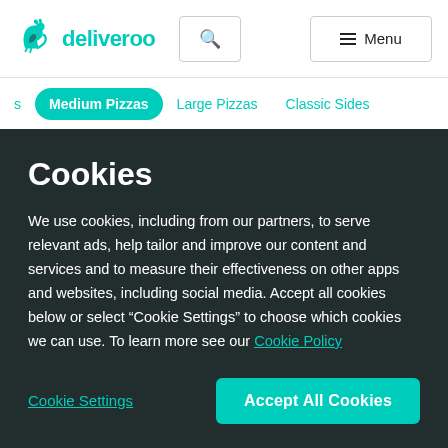[Figure (logo): Deliveroo teal kangaroo logo with wordmark 'deliveroo']
s	Medium Pizzas	Large Pizzas	Classic Sides
Cookies
We use cookies, including from our partners, to serve relevant ads, help tailor and improve our content and services and to measure their effectiveness on other apps and websites, including social media. Accept all cookies below or select “Cookie Settings” to choose which cookies we can use. To learn more see our Cookie Policy
Cookie Settings
Accept All Cookies